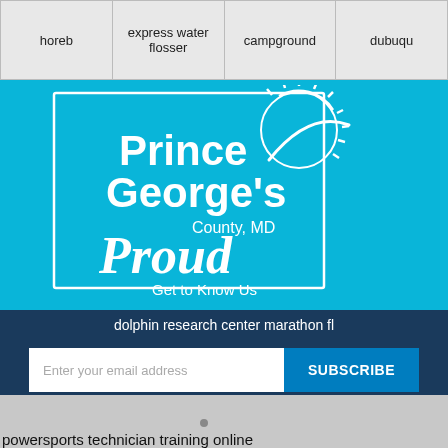| horeb | express water flosser | campground | dubuqu… |
[Figure (logo): Prince George's County, MD Proud – Get to Know Us logo on cyan/teal background]
dolphin research center marathon fl
Enter your email address
SUBSCRIBE
No Thanks
Remind Me Later
powersports technician training online